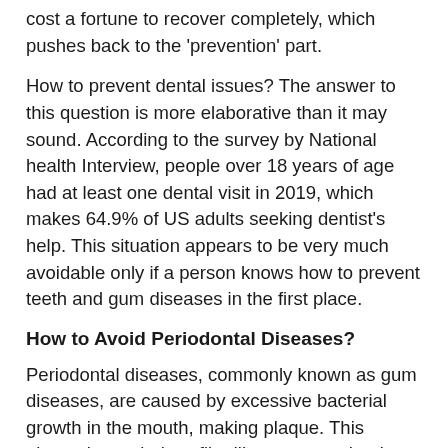cost a fortune to recover completely, which pushes back to the 'prevention' part.
How to prevent dental issues? The answer to this question is more elaborative than it may sound. According to the survey by National health Interview, people over 18 years of age had at least one dental visit in 2019, which makes 64.9% of US adults seeking dentist's help. This situation appears to be very much avoidable only if a person knows how to prevent teeth and gum diseases in the first place.
How to Avoid Periodontal Diseases?
Periodontal diseases, commonly known as gum diseases, are caused by excessive bacterial growth in the mouth, making plaque. This plaque is a colorless film-like structure that is accumulated between teeth as well as gums, providing the site for bacteria to grow up. Once the bacteria start to live here, the surrounding gums swell, giving a person infuriating pain.
At this point, if it is left untreated, the infection can be...